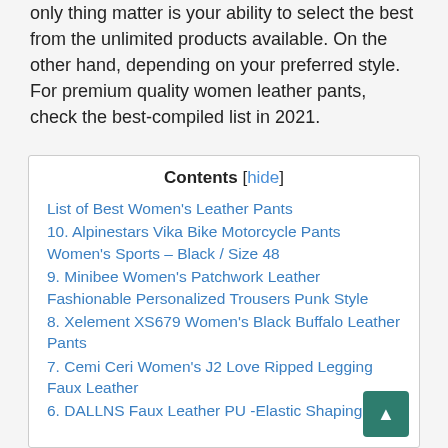only thing matter is your ability to select the best from the unlimited products available. On the other hand, depending on your preferred style. For premium quality women leather pants, check the best-compiled list in 2021.
List of Best Women's Leather Pants
10. Alpinestars Vika Bike Motorcycle Pants Women's Sports – Black / Size 48
9. Minibee Women's Patchwork Leather Fashionable Personalized Trousers Punk Style
8. Xelement XS679 Women's Black Buffalo Leather Pants
7. Cemi Ceri Women's J2 Love Ripped Legging Faux Leather
6. DALLNS Faux Leather PU -Elastic Shaping Hip